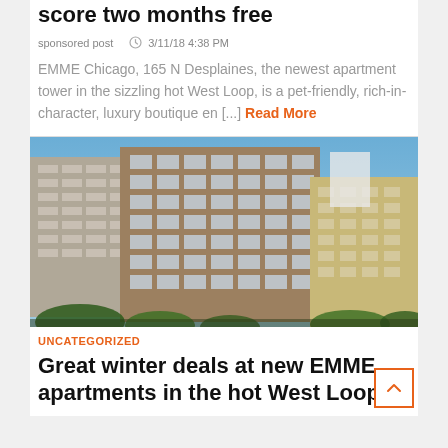score two months free
sponsored post   3/11/18 4:38 PM
EMME Chicago, 165 N Desplaines, the newest apartment tower in the sizzling hot West Loop, is a pet-friendly, rich-in-character, luxury boutique en [...] Read More
[Figure (photo): Exterior rendering of EMME Chicago apartment tower at 165 N Desplaines in the West Loop, showing a modern multi-story building with glass and brick facade against a blue sky, flanked by other city buildings.]
UNCATEGORIZED
Great winter deals at new EMME apartments in the hot West Loop